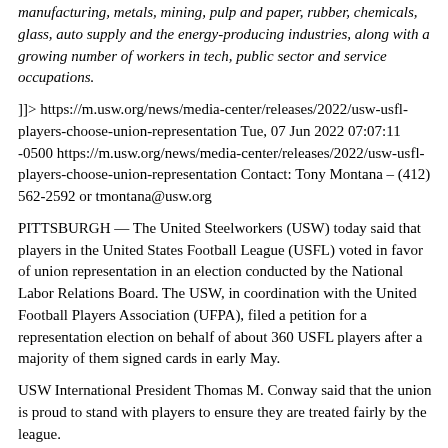manufacturing, metals, mining, pulp and paper, rubber, chemicals, glass, auto supply and the energy-producing industries, along with a growing number of workers in tech, public sector and service occupations.
]]> https://m.usw.org/news/media-center/releases/2022/usw-usfl-players-choose-union-representation Tue, 07 Jun 2022 07:07:11 -0500 https://m.usw.org/news/media-center/releases/2022/usw-usfl-players-choose-union-representation Contact: Tony Montana – (412) 562-2592 or tmontana@usw.org
PITTSBURGH — The United Steelworkers (USW) today said that players in the United States Football League (USFL) voted in favor of union representation in an election conducted by the National Labor Relations Board. The USW, in coordination with the United Football Players Association (UFPA), filed a petition for a representation election on behalf of about 360 USFL players after a majority of them signed cards in early May.
USW International President Thomas M. Conway said that the union is proud to stand with players to ensure they are treated fairly by the league.
“Pay, hours and working conditions are areas where a union can make a difference,” Conway said. “Giving players a strong collective voice will ensure more security for individuals, their